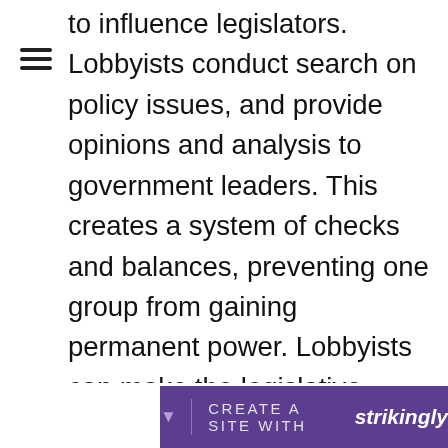to influence legislators. Lobbyists conduct search on policy issues, and provide opinions and analysis to government leaders. This creates a system of checks and balances, preventing one group from gaining permanent power. Lobbyists can make the legislative process run more smoothly and efficiently. They can also provide reliable data and accurate assessments of how a particular bill will impact the business or organization. If you probably want to get more enlightened on this topic, then click on this related post: https://www.britannica.com/topic/lobbying.
CREATE A SITE WITH strikingly